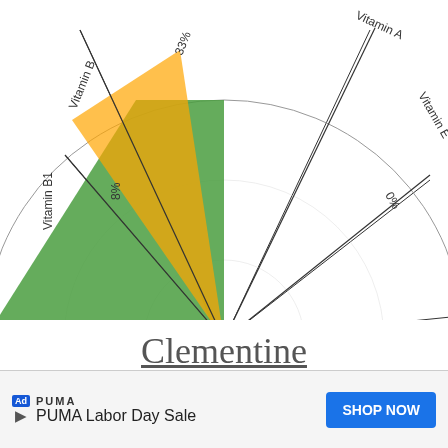[Figure (radar-chart): Partial radar/spider chart showing vitamin content percentages for a fruit. Vitamin C 280%, Vitamin B 33%, Vitamin B1 8%, Vitamin D 0%, Vitamin E 0%, Vitamin A 0%. Top half only visible, with colored wedges (green for Vitamin C, orange for Vitamin B).]
Clementine
[Figure (radar-chart): Radar/spider chart showing B-vitamin content for Clementine. Vitamin B6 18%, Folate 18%, Vitamin B5 10%, Vitamin B3 12%, Vitamin B12 0%, Vitamin K 0%. Colorful wedges visible at bottom portion (pink/magenta and purple). Only upper half and partial lower section visible.]
[Figure (other): Advertisement banner: PUMA brand, PUMA Labor Day Sale, with SHOP NOW button.]